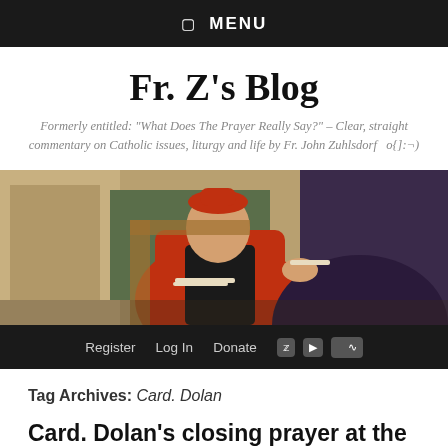☰  MENU
Fr. Z's Blog
Formerly entitled: "What Does The Prayer Really Say?" – Clear, straight commentary on Catholic issues, liturgy and life by Fr. John Zuhlsdorf   o{]:¬)
[Figure (photo): Painting of a cardinal in red robes reading a document, with a figure in dark purple robes handing papers to him.]
Register   Log In   Donate   [Twitter] [YouTube] [RSS]
Tag Archives: Card. Dolan
Card. Dolan's closing prayer at the Democrats convention.
Posted on 7 September 2012 by Fr. John Zuhlsdorf